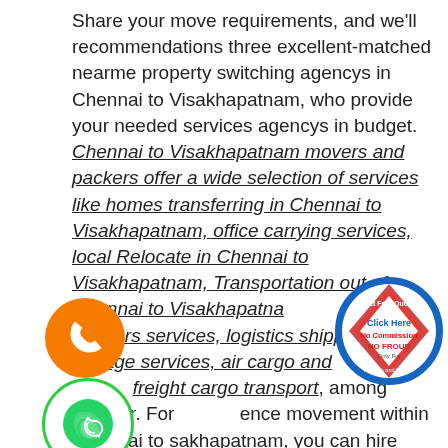Share your move requirements, and we'll recommendations three excellent-matched nearme property switching agencys in Chennai to Visakhapatnam, who provide your needed services agencys in budget. Chennai to Visakhapatnam movers and packers offer a wide selection of services like homes transferring in Chennai to Visakhapatnam, office carrying services, local Relocate in Chennai to Visakhapatnam, Transportation out of Chennai to Visakhapatnam, logistics and Packers services, logistics shipping, warehouse storage services, air cargo and ocean freight cargo transport, among another. For reference movement within Chennai to Visakhapatnam, you can hire cheap and great Local Packers and Movers in Chennai through
[Figure (logo): Orange circle with white phone handset icon]
[Figure (logo): Green-bordered white circle with green phone/WhatsApp icon]
[Figure (logo): Circular badge with blue border, red details, text: Get Free Quote, Click Here, No Commission, NO FROUD, Only For Packers and Movers]